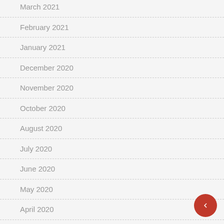March 2021
February 2021
January 2021
December 2020
November 2020
October 2020
August 2020
July 2020
June 2020
May 2020
April 2020
March 2020